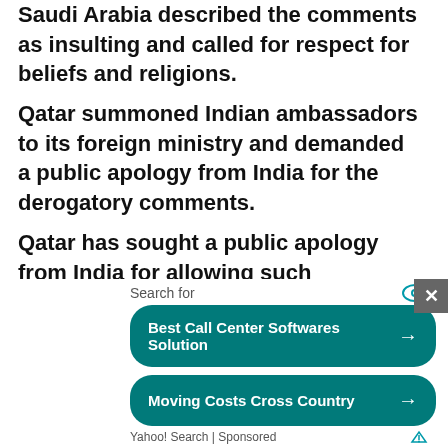Saudi Arabia described the comments as insulting and called for respect for beliefs and religions.
Qatar summoned Indian ambassadors to its foreign ministry and demanded a public apology from India for the derogatory comments.
Qatar has sought a public apology from India for allowing such "Islamophobic" views without retribution.
[Figure (photo): Thumbnail photo of Imran Khan with related article headline: Contempt case: IHC directs Imran Khan to resubmit his response in 7 days]
Kuwait has also summoned India's ambassador amid widespread...Indian goods i...
Search for
Best Call Center Softwares Solution →
Moving Costs Cross Country →
Yahoo! Search | Sponsored